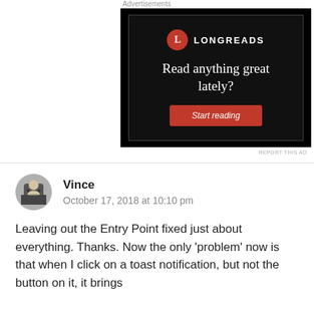Advertisements
[Figure (other): Longreads advertisement banner with black background, Longreads logo (red circle with L), headline 'Read anything great lately?' and red 'Start reading' button]
REPORT THIS AD
Vince
October 17, 2018 at 10:10 pm
Leaving out the Entry Point fixed just about everything. Thanks. Now the only 'problem' now is that when I click on a toast notification, but not the button on it, it brings